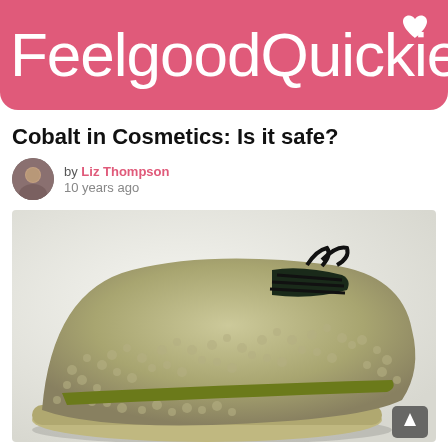[Figure (logo): FeelgoodQuickie logo — pink/rose rounded banner with white text 'FeelgoodQuickie' and a small white heart icon in the top-right corner]
Cobalt in Cosmetics: Is it safe?
by Liz Thompson
10 years ago
[Figure (photo): Close-up macro photo of a fuzzy/textured sneaker shoe made of soft yarn or moss-like material, with dark laces and an olive/yellow-green stripe, on a white background. A scroll-up arrow button is visible in the bottom right corner.]